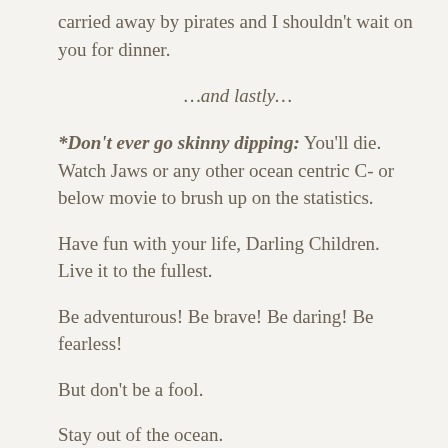carried away by pirates and I shouldn't wait on you for dinner.
…and lastly…
*Don't ever go skinny dipping: You'll die. Watch Jaws or any other ocean centric C- or below movie to brush up on the statistics.
Have fun with your life, Darling Children. Live it to the fullest.
Be adventurous! Be brave! Be daring! Be fearless!
But don't be a fool.
Stay out of the ocean.
I love you, my little darlings,